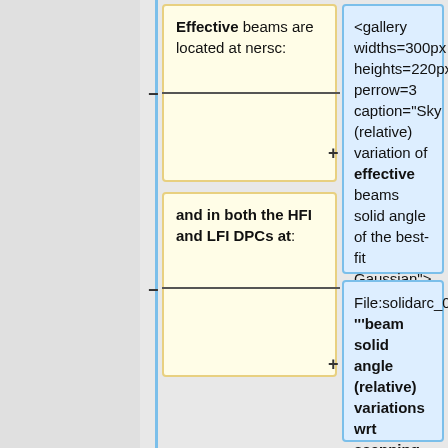Effective beams are located at nersc:
<gallery widths=300px heights=220px perrow=3 caption="Sky (relative) variation of effective beams solid angle of the best-fit Gaussian">
and in both the HFI and LFI DPCs at:
File:solidarc_030_GB.png| '''beam solid angle (relative) variations wrt scanning beam - 30GHz'''
File:solidarc_044_GB.png| '''beam solid